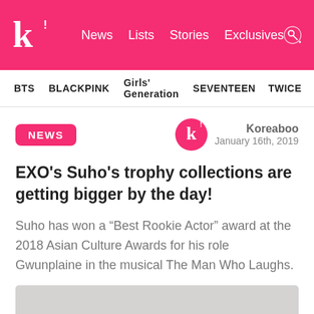k! News Lists Stories Exclusives
BTS BLACKPINK Girls' Generation SEVENTEEN TWICE
NEWS
Koreaboo January 16th, 2019
EXO's Suho's trophy collections are getting bigger by the day!
Suho has won a “Best Rookie Actor” award at the 2018 Asian Culture Awards for his role Gwunplaine in the musical The Man Who Laughs.
[Figure (photo): Gray image placeholder at bottom of page]